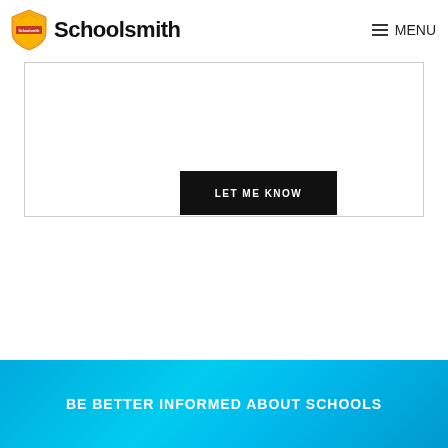Schoolsmith  MENU
[Figure (screenshot): A black button/CTA element with white text 'LET ME KNOW' inside a bordered white card box]
LET ME KNOW
BE BETTER INFORMED ABOUT SCHOOLS